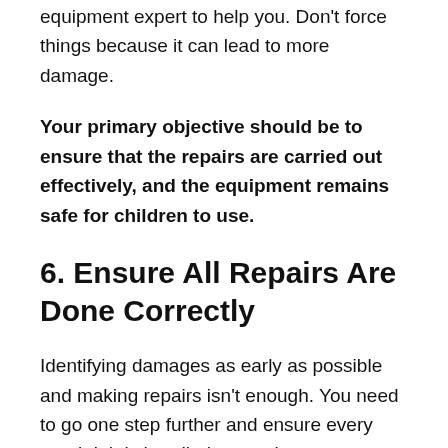equipment expert to help you. Don't force things because it can lead to more damage.
Your primary objective should be to ensure that the repairs are carried out effectively, and the equipment remains safe for children to use.
6. Ensure All Repairs Are Done Correctly
Identifying damages as early as possible and making repairs isn't enough. You need to go one step further and ensure every repair job is handled correctly.